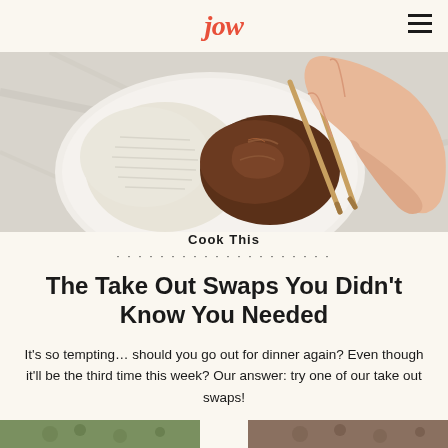jow
[Figure (photo): Overhead photo of a white plate with rice and teriyaki chicken, with a hand holding chopsticks picking up food, on a marble surface]
Cook This
The Take Out Swaps You Didn't Know You Needed
It's so tempting… should you go out for dinner again? Even though it'll be the third time this week? Our answer: try one of our take out swaps!
[Figure (photo): Bottom strip showing partial food images]